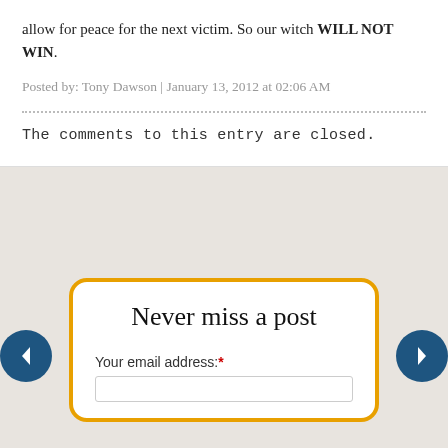allow for peace for the next victim. So our witch WILL NOT WIN.
Posted by: Tony Dawson | January 13, 2012 at 02:06 AM
The comments to this entry are closed.
Never miss a post
Your email address:*